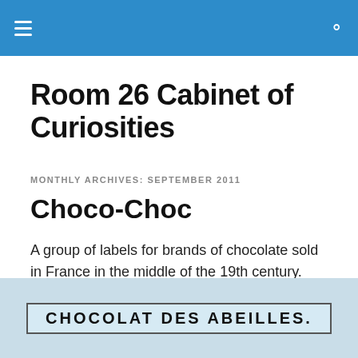Room 26 Cabinet of Curiosities
Room 26 Cabinet of Curiosities
MONTHLY ARCHIVES: SEPTEMBER 2011
Choco-Choc
A group of labels for brands of chocolate sold in France in the middle of the 19th century.
[Figure (photo): Partial view of a chocolate label reading CHOCOLAT DES ABEILLES on a light blue background with a border.]